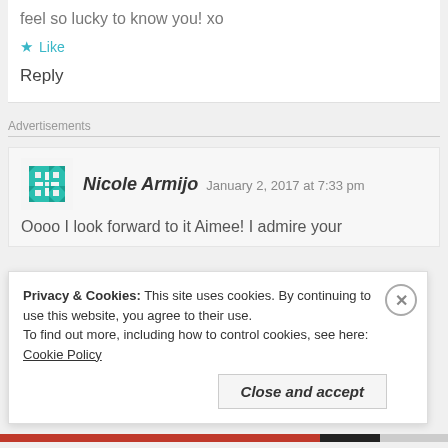feel so lucky to know you! xo
★ Like
Reply
Advertisements
Nicole Armijo  January 2, 2017 at 7:33 pm
Oooo I look forward to it Aimee! I admire your
Privacy & Cookies: This site uses cookies. By continuing to use this website, you agree to their use.
To find out more, including how to control cookies, see here: Cookie Policy
Close and accept